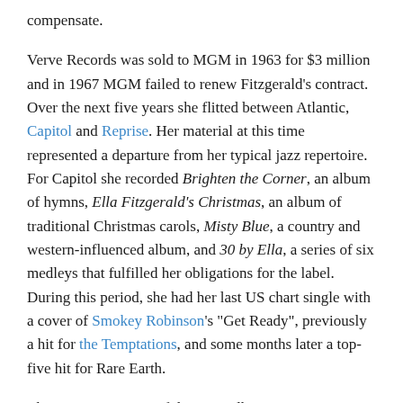compensate.
Verve Records was sold to MGM in 1963 for $3 million and in 1967 MGM failed to renew Fitzgerald's contract. Over the next five years she flitted between Atlantic, Capitol and Reprise. Her material at this time represented a departure from her typical jazz repertoire. For Capitol she recorded Brighten the Corner, an album of hymns, Ella Fitzgerald's Christmas, an album of traditional Christmas carols, Misty Blue, a country and western-influenced album, and 30 by Ella, a series of six medleys that fulfilled her obligations for the label. During this period, she had her last US chart single with a cover of Smokey Robinson's "Get Ready", previously a hit for the Temptations, and some months later a top-five hit for Rare Earth.
The surprise success of the 1972 album Jazz at Santa Monica Civic '72 led Granz to found Pablo Records, his first record label since the sale of Verve. Fitzgerald recorded some 20 albums for the label. Ella in London recorded live in